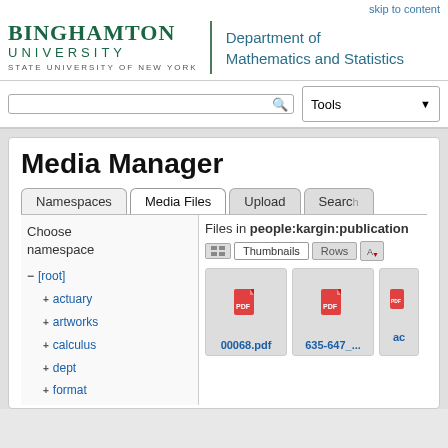skip to content
[Figure (logo): Binghamton University State University of New York logo with Department of Mathematics and Statistics text]
Media Manager
Namespaces | Media Files | Upload | Search
Choose namespace
Files in people:kargin:publication
− [root]
+ actuary
+ artworks
+ calculus
+ dept
+ format
00068.pdf
635-647_....
ac